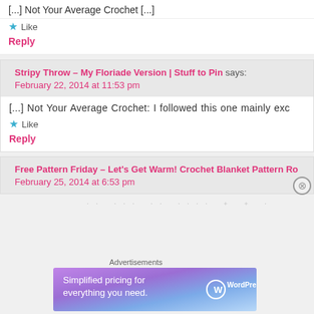[...] Not Your Average Crochet [...]
★ Like
Reply
Stripy Throw – My Floriade Version | Stuff to Pin says:
February 22, 2014 at 11:53 pm
[...] Not Your Average Crochet: I followed this one mainly exc
★ Like
Reply
Free Pattern Friday – Let's Get Warm! Crochet Blanket Pattern Ro
February 25, 2014 at 6:53 pm
[Figure (screenshot): WordPress.com advertisement banner: 'Simplified pricing for everything you need.' with WordPress logo]
Advertisements